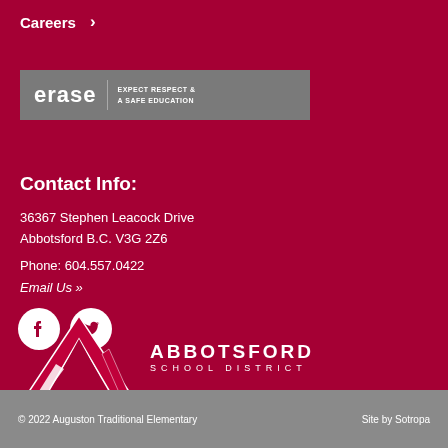Careers ›
[Figure (logo): Erase logo: 'erase | EXPECT RESPECT & A SAFE EDUCATION' on grey background]
Contact Info:
36367 Stephen Leacock Drive
Abbotsford B.C. V3G 2Z6
Phone: 604.557.0422
Email Us »
[Figure (illustration): Social media icons: Facebook and Twitter circles]
[Figure (logo): Abbotsford School District logo with stylized A and text]
© 2022 Auguston Traditional Elementary    Site by Sotropa